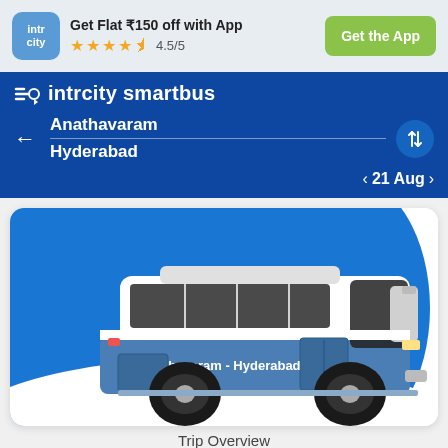[Figure (screenshot): IntrCity app banner with logo, 'Get Flat ₹150 off with App', 4.5/5 stars, and 'Get the App' green button]
intrcity smartbus
Anathavaram
Hyderabad
21 Aug
[Figure (illustration): Illustration of a blue and white intercity bus labeled 'Anathavaram - Hyderabad' on a blue background card]
Trip Overview